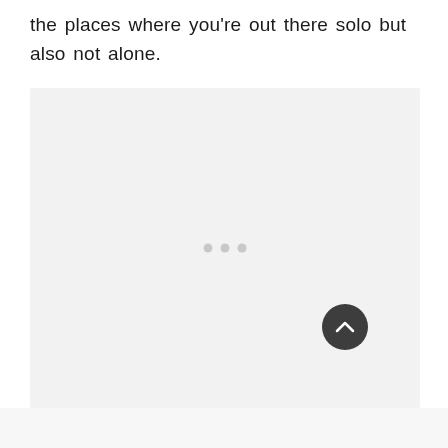the places where you're out there solo but also not alone.
[Figure (other): A large light gray placeholder image area with three small gray dots centered in the middle and a dark circular button with an upward chevron arrow in the lower right area.]